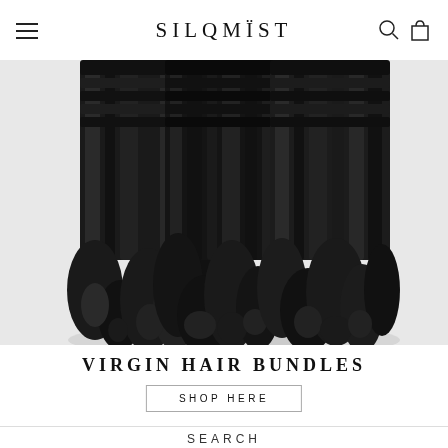SILQMÏST
[Figure (photo): Three bundles of deep wave / curly virgin hair extensions laid on a white background, showing the texture and wave pattern of the hair.]
VIRGIN HAIR BUNDLES
SHOP HERE
SEARCH